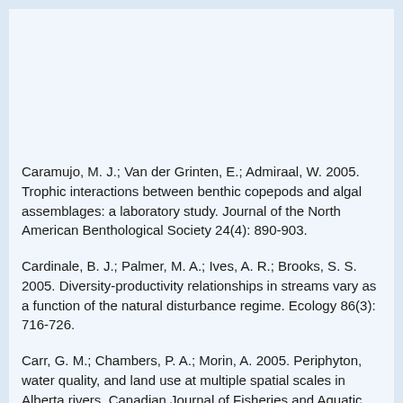Caramujo, M. J.; Van der Grinten, E.; Admiraal, W. 2005. Trophic interactions between benthic copepods and algal assemblages: a laboratory study. Journal of the North American Benthological Society 24(4): 890-903.
Cardinale, B. J.; Palmer, M. A.; Ives, A. R.; Brooks, S. S. 2005. Diversity-productivity relationships in streams vary as a function of the natural disturbance regime. Ecology 86(3): 716-726.
Carr, G. M.; Chambers, P. A.; Morin, A. 2005. Periphyton, water quality, and land use at multiple spatial scales in Alberta rivers. Canadian Journal of Fisheries and Aquatic Sciences 62(6): 1309-1319.
Carr, G. M.; Morin, A.; Chambers, P. A. 2005. Bacteria and algae in stream periphyton along a nutrient gradient. Freshwater Biology